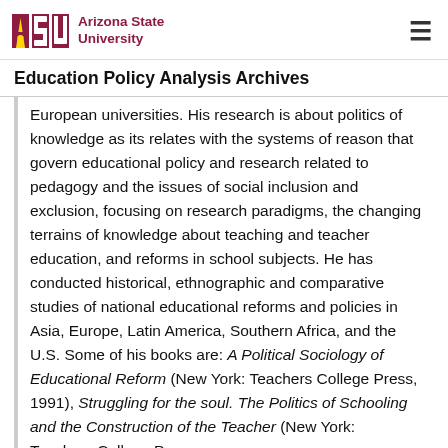Arizona State University — Education Policy Analysis Archives
European universities. His research is about politics of knowledge as its relates with the systems of reason that govern educational policy and research related to pedagogy and the issues of social inclusion and exclusion, focusing on research paradigms, the changing terrains of knowledge about teaching and teacher education, and reforms in school subjects. He has conducted historical, ethnographic and comparative studies of national educational reforms and policies in Asia, Europe, Latin America, Southern Africa, and the U.S. Some of his books are: A Political Sociology of Educational Reform (New York: Teachers College Press, 1991), Struggling for the soul. The Politics of Schooling and the Construction of the Teacher (New York: Teachers College Press,